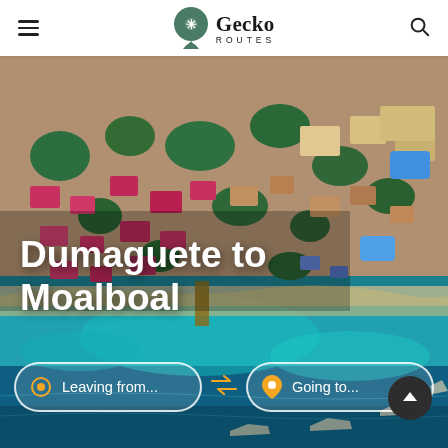Gecko Routes
[Figure (photo): Aerial drone view of Moalboal coastline showing colorful rooftops of resort buildings and houses among tropical trees, with turquoise ocean water and coral reef visible at the bottom of the image. Several bangka boats visible in the water.]
Dumaguete to Moalboal
Leaving from...
Going to...